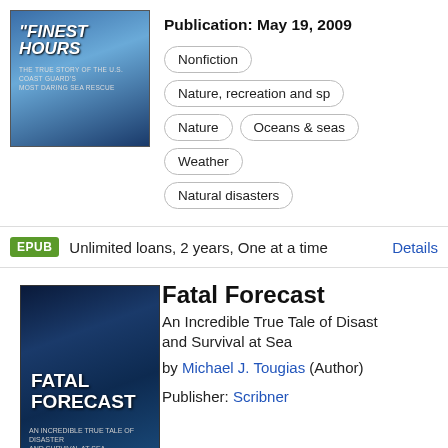[Figure (photo): Book cover of 'The Finest Hours' showing ocean rescue scene]
Publication: May 19, 2009
Nonfiction
Nature, recreation and sp
Nature
Oceans & seas
Weather
Natural disasters
EPUB  Unlimited loans, 2 years, One at a time  Details
[Figure (photo): Book cover of 'Fatal Forecast' showing a boat in stormy sea]
Fatal Forecast
An Incredible True Tale of Disaster and Survival at Sea
by Michael J. Tougias (Author)
Publisher: Scribner